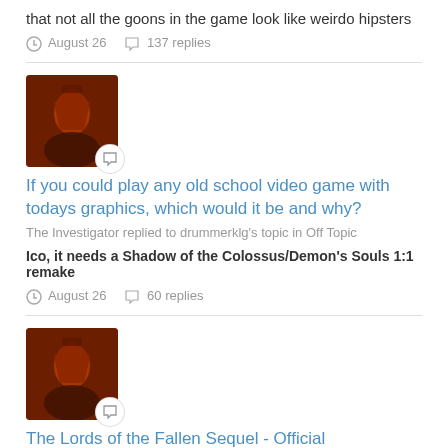that not all the goons in the game look like weirdo hipsters
August 26    137 replies
[Figure (illustration): Avatar image showing a dark fantasy character with an overlaid chat bubble icon badge]
If you could play any old school video game with todays graphics, which would it be and why?
The Investigator replied to drummerklg's topic in Off Topic
Ico, it needs a Shadow of the Colossus/Demon's Souls 1:1 remake
August 26    60 replies
[Figure (illustration): Avatar image showing a dark fantasy character with an overlaid chat bubble icon badge]
The Lords of the Fallen Sequel - Official Announcement Trailer | gamescom 2022
The Investigator replied to ziggypossum's topic in Unreleased Games
bad name, the first one was ok, just nothing memorable to it, they need to fully revamp the gameplay, animations, writing, characters...